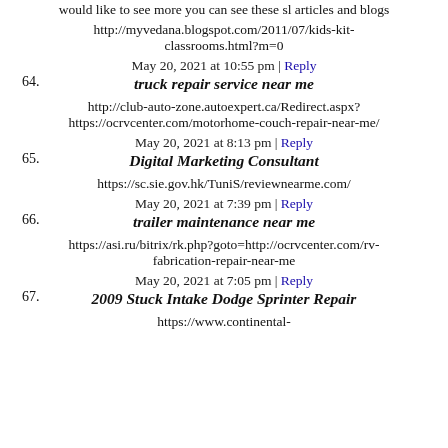would like to see more you can see these sl articles and blogs
http://myvedana.blogspot.com/2011/07/kids-kit-classrooms.html?m=0
May 20, 2021 at 10:55 pm | Reply
64. truck repair service near me
http://club-auto-zone.autoexpert.ca/Redirect.aspx?
https://ocrvcenter.com/motorhome-couch-repair-near-me/
May 20, 2021 at 8:13 pm | Reply
65. Digital Marketing Consultant
https://sc.sie.gov.hk/TuniS/reviewnearme.com/
May 20, 2021 at 7:39 pm | Reply
66. trailer maintenance near me
https://asi.ru/bitrix/rk.php?goto=http://ocrvcenter.com/rv-fabrication-repair-near-me
May 20, 2021 at 7:05 pm | Reply
67. 2009 Stuck Intake Dodge Sprinter Repair
https://www.continental-